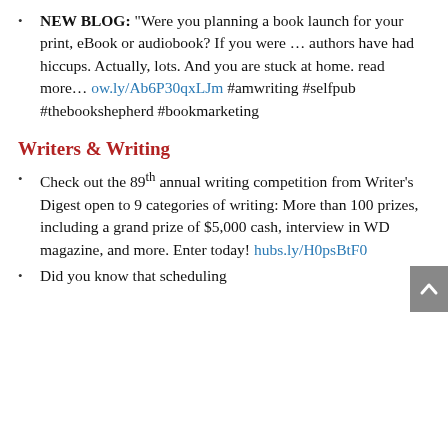NEW BLOG: “Were you planning a book launch for your print, eBook or audiobook? If you were … authors have had hiccups. Actually, lots. And you are stuck at home. read more… ow.ly/Ab6P30qxLJm #amwriting #selfpub #thebookshepherd #bookmarketing
Writers & Writing
Check out the 89th annual writing competition from Writer’s Digest open to 9 categories of writing: More than 100 prizes, including a grand prize of $5,000 cash, interview in WD magazine, and more. Enter today! hubs.ly/H0psBtF0
Did you know that scheduling